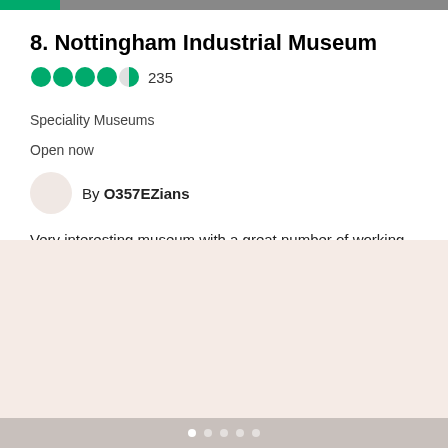8. Nottingham Industrial Museum
[Figure (other): TripAdvisor 4.5 star rating with 235 reviews]
Speciality Museums
Open now
By O357EZians
Very interesting museum with a great number of working exhibits including a lace making machine, a faceless clock, a...